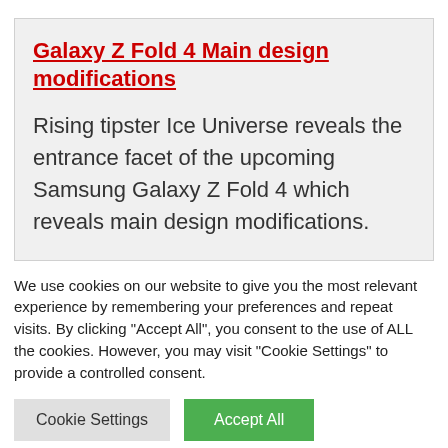Galaxy Z Fold 4 Main design modifications
Rising tipster Ice Universe reveals the entrance facet of the upcoming Samsung Galaxy Z Fold 4 which reveals main design modifications.
We use cookies on our website to give you the most relevant experience by remembering your preferences and repeat visits. By clicking "Accept All", you consent to the use of ALL the cookies. However, you may visit "Cookie Settings" to provide a controlled consent.